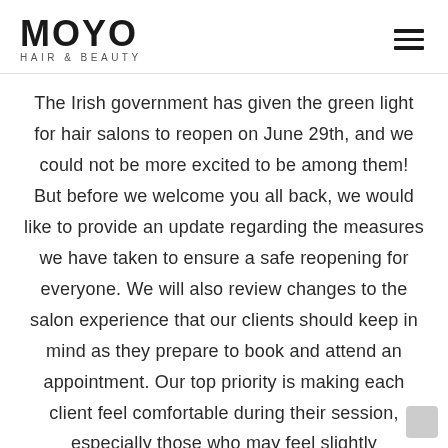MOYO HAIR & BEAUTY
The Irish government has given the green light for hair salons to reopen on June 29th, and we could not be more excited to be among them! But before we welcome you all back, we would like to provide an update regarding the measures we have taken to ensure a safe reopening for everyone. We will also review changes to the salon experience that our clients should keep in mind as they prepare to book and attend an appointment. Our top priority is making each client feel comfortable during their session, especially those who may feel slightly apprehensive about coming in during these times.